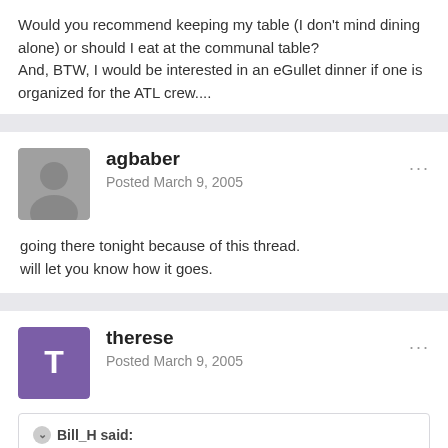Would you recommend keeping my table (I don't mind dining alone) or should I eat at the communal table?
And, BTW, I would be interested in an eGullet dinner if one is organized for the ATL crew....
agbaber
Posted March 9, 2005
going there tonight because of this thread.
will let you know how it goes.
therese
Posted March 9, 2005
Bill_H said:
How funny, I'm in Atlanta on my regular monthly visit and I